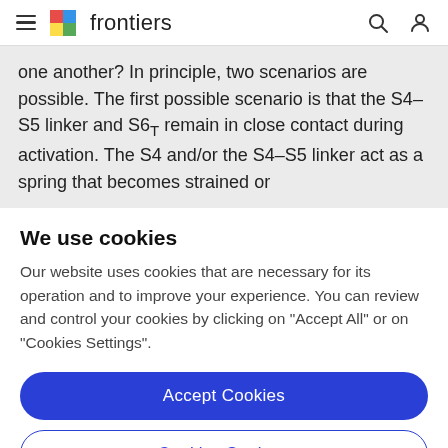frontiers
one another? In principle, two scenarios are possible. The first possible scenario is that the S4–S5 linker and S6T remain in close contact during activation. The S4 and/or the S4–S5 linker act as a spring that becomes strained or
We use cookies
Our website uses cookies that are necessary for its operation and to improve your experience. You can review and control your cookies by clicking on "Accept All" or on "Cookies Settings".
Accept Cookies
Cookies Settings